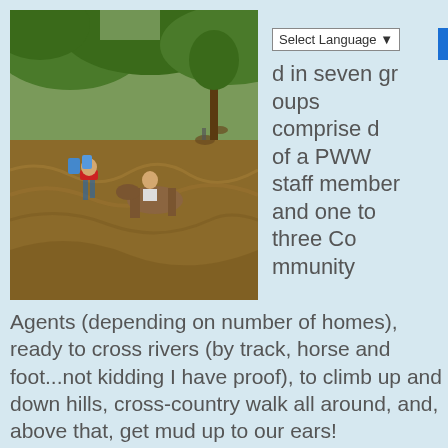[Figure (photo): People crossing a flooded brown river; one person in red shirt wading while carrying water jugs, another person riding a horse through the water, with lush green trees in the background.]
Select Language
d in seven groups comprised of a PWW staff member and one to three Community Agents (depending on number of homes), ready to cross rivers (by track, horse and foot...not kidding I have proof), to climb up and down hills, cross-country walk all around, and, above that, get mud up to our ears!